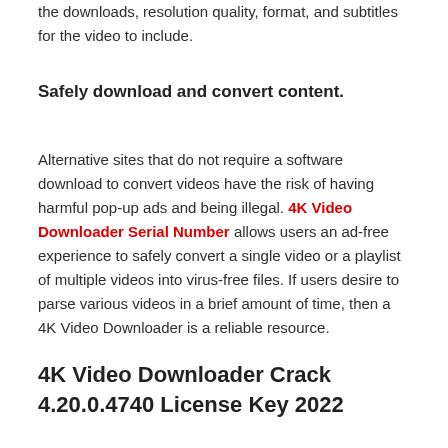the downloads, resolution quality, format, and subtitles for the video to include.
Safely download and convert content.
Alternative sites that do not require a software download to convert videos have the risk of having harmful pop-up ads and being illegal. 4K Video Downloader Serial Number allows users an ad-free experience to safely convert a single video or a playlist of multiple videos into virus-free files. If users desire to parse various videos in a brief amount of time, then a 4K Video Downloader is a reliable resource.
4K Video Downloader Crack 4.20.0.4740 License Key 2022